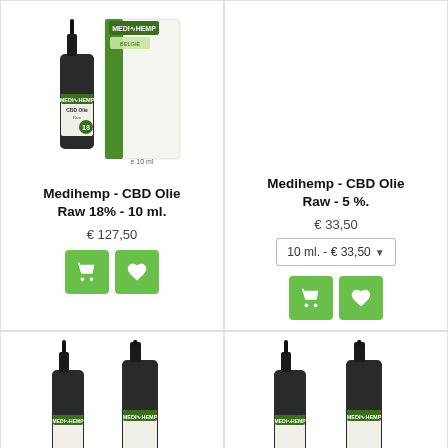[Figure (photo): Medihemp CBD Olie Raw 18% 10ml product photo showing dropper bottle and box]
Medihemp - CBD Olie Raw 18% - 10 ml.
€ 127,50
[Figure (other): Cart and wishlist buttons for first product]
Medihemp - CBD Olie Raw - 5 %.
€ 33,50
10 ml. - € 33,50
[Figure (other): Cart and wishlist buttons for second product]
[Figure (photo): Two Medihemp CBD oil dropper bottles, bottom-left product]
[Figure (photo): Two Medihemp CBD oil dropper bottles, bottom-right product]